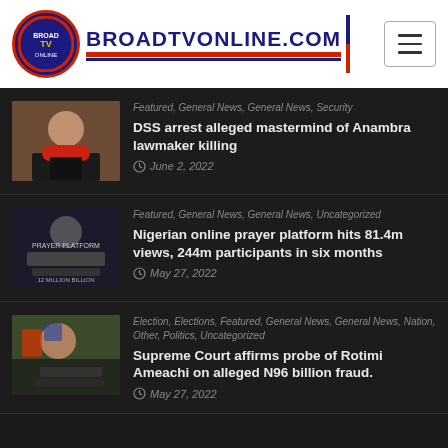BROADTVONLINE.COM
Featured, General News, General News, Security | DSS arrest alleged mastermind of Anambra lawmaker killing | June 2, 2022
Featured, General News, General News, Uncategorized | Nigerian online prayer platform hits 81.4m views, 244m participants in six months | May 27, 2022
Election, Elections, Featured, General News, General News, Nation, Other, Politics, Uncategorized | Supreme Court affirms probe of Rotimi Ameachi on alleged N96 billion fraud. | May 27, 2022